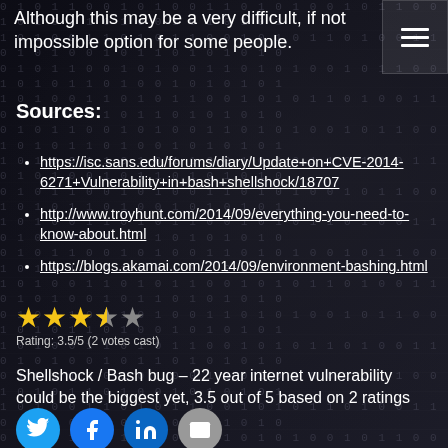Although this may be a very difficult, if not impossible option for some people.
Sources:
https://isc.sans.edu/forums/diary/Update+on+CVE-2014-6271+Vulnerability+in+bash+shellshock/18707
http://www.troyhunt.com/2014/09/everything-you-need-to-know-about.html
https://blogs.akamai.com/2014/09/environment-bashing.html
Rating: 3.5/5 (2 votes cast)
Shellshock / Bash bug – 22 year internet vulnerability could be the biggest yet, 3.5 out of 5 based on 2 ratings
[Figure (illustration): Social sharing icons: Twitter, Facebook, LinkedIn, Email]